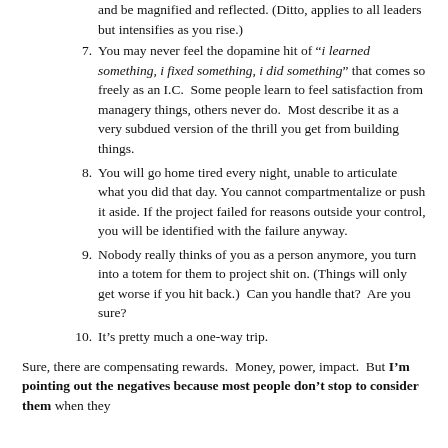(partial top) and be magnified and reflected. (Ditto, applies to all leaders but intensifies as you rise.)
7. You may never feel the dopamine hit of "i learned something, i fixed something, i did something" that comes so freely as an I.C.  Some people learn to feel satisfaction from managery things, others never do.  Most describe it as a very subdued version of the thrill you get from building things.
8. You will go home tired every night, unable to articulate what you did that day. You cannot compartmentalize or push it aside. If the project failed for reasons outside your control, you will be identified with the failure anyway.
9. Nobody really thinks of you as a person anymore, you turn into a totem for them to project shit on. (Things will only get worse if you hit back.)  Can you handle that?  Are you sure?
10. It's pretty much a one-way trip.
Sure, there are compensating rewards.  Money, power, impact.  But I'm pointing out the negatives because most people don't stop to consider them when they